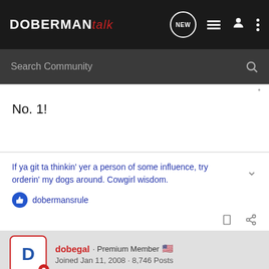DOBERMAN talk — NEW — Search Community
No. 1!
If ya git ta thinkin' yer a person of some influence, try orderin' my dogs around. Cowgirl wisdom.
dobermansrule
dobegal · Premium Member  Joined Jan 11, 2008 · 8,746 Posts